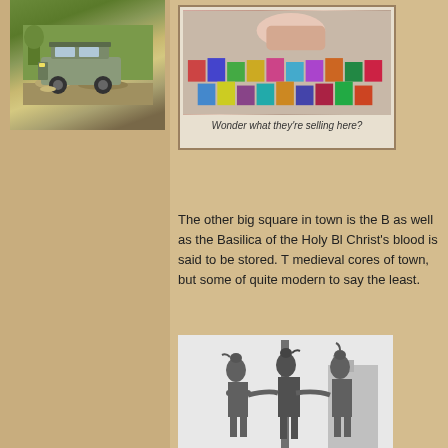[Figure (photo): Off-road vehicle (SUV/truck) driving through rocky/desert terrain with roof rack]
[Figure (photo): Close-up of what appears to be items for sale at a market stall]
Wonder what they're selling here?
The other big square in town is the B as well as the Basilica of the Holy Bl Christ's blood is said to be stored. T medieval cores of town, but some of quite modern to say the least.
[Figure (photo): Bronze sculpture/statue of figures with birds perched on them in an outdoor square]